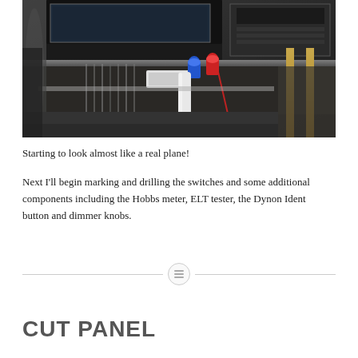[Figure (photo): Photograph of an aircraft instrument panel under construction, showing avionics equipment, wiring harnesses, blue and red connectors, a white tube/pipe, and a metal frame with gold-colored rails.]
Starting to look almost like a real plane!
Next I'll begin marking and drilling the switches and some additional components including the Hobbs meter, ELT tester, the Dynon Ident button and dimmer knobs.
CUT PANEL